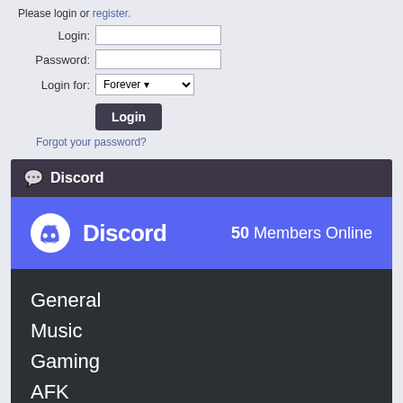Please login or register.
Login:
Password:
Login for: Forever
Login
Forgot your password?
Discord
[Figure (screenshot): Discord widget showing 50 Members Online, channels: General, Music, Gaming, AFK, and Members Online list with !Rosè Zenitsu and 1Norsire visible]
General
Music
Gaming
AFK
MEMBERS ONLINE
!Rosè Zenitsu
1Norsire